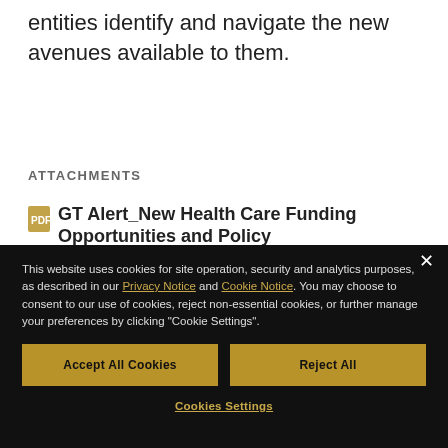entities identify and navigate the new avenues available to them.
ATTACHMENTS
GT Alert_New Health Care Funding Opportunities and Policy
[Figure (screenshot): Cookie consent modal dialog with dark background. Contains text about cookies, links to Privacy Notice and Cookie Notice, two buttons: Accept All Cookies and Reject All, and a Cookies Settings link. Close button (×) in top right corner.]
Interested In: